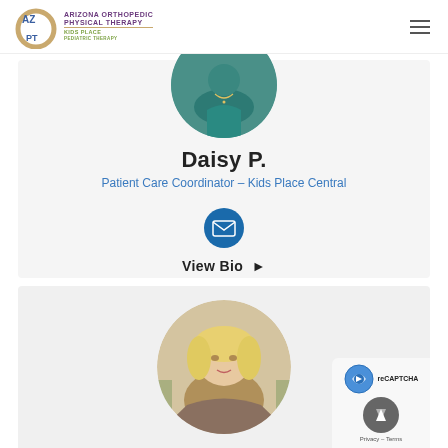Arizona Orthopedic Physical Therapy - Kids Place Pediatric Therapy
Daisy P.
Patient Care Coordinator - Kids Place Central
View Bio ▶
[Figure (photo): Circular portrait photo of person wearing teal/green top with necklace]
[Figure (photo): Circular portrait photo of a blonde woman outdoors]